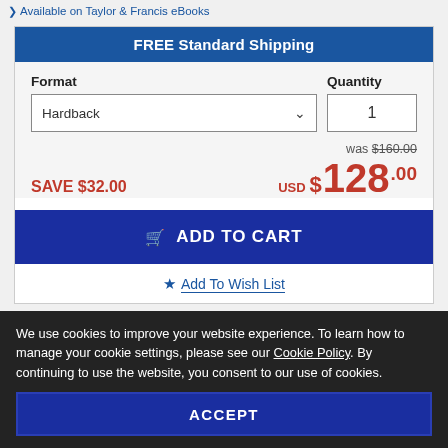Available on Taylor & Francis eBooks
FREE Standard Shipping
Format
Quantity
Hardback
1
was $160.00
SAVE $32.00
USD $ 128.00
ADD TO CART
Add To Wish List
We use cookies to improve your website experience. To learn how to manage your cookie settings, please see our Cookie Policy. By continuing to use the website, you consent to our use of cookies.
ACCEPT